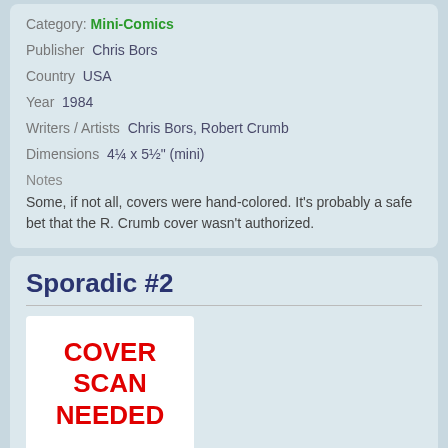Category: Mini-Comics
Publisher  Chris Bors
Country  USA
Year  1984
Writers / Artists  Chris Bors, Robert Crumb
Dimensions  4¼ x 5½" (mini)
Notes
Some, if not all, covers were hand-colored. It's probably a safe bet that the R. Crumb cover wasn't authorized.
Sporadic #2
[Figure (other): White box placeholder with red text reading COVER SCAN NEEDED]